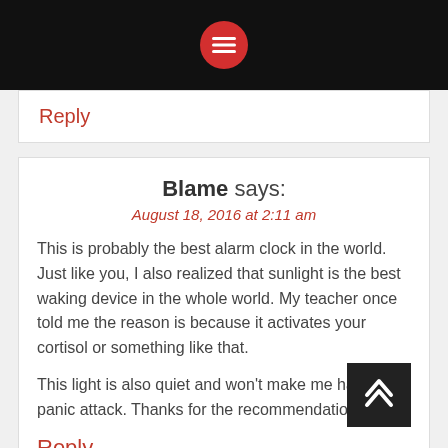Menu icon / hamburger button in red circle on black bar
Reply
Blame says:
August 18, 2016 at 2:11 am
This is probably the best alarm clock in the world. Just like you, I also realized that sunlight is the best waking device in the whole world. My teacher once told me the reason is because it activates your cortisol or something like that.

This light is also quiet and won't make me have a panic attack. Thanks for the recommendation.
Reply